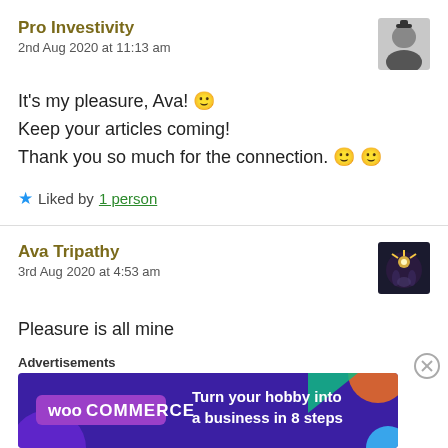Pro Investivity
2nd Aug 2020 at 11:13 am
It's my pleasure, Ava! 🙂
Keep your articles coming!
Thank you so much for the connection. 🙂 🙂
★ Liked by 1 person
Ava Tripathy
3rd Aug 2020 at 4:53 am
Pleasure is all mine
Advertisements
[Figure (other): WooCommerce advertisement banner: Turn your hobby into a business in 8 steps]